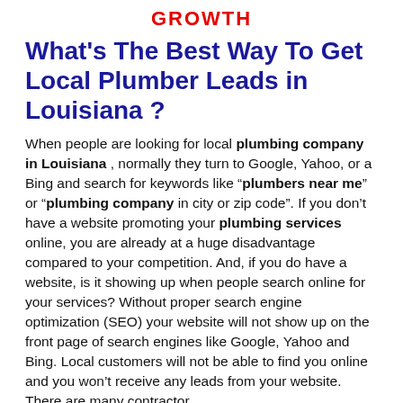GROWTH
What’s The Best Way To Get Local Plumber Leads in Louisiana ?
When people are looking for local plumbing company in Louisiana , normally they turn to Google, Yahoo, or a Bing and search for keywords like “plumbers near me” or “plumbing company in city or zip code”. If you don’t have a website promoting your plumbing services online, you are already at a huge disadvantage compared to your competition. And, if you do have a website, is it showing up when people search online for your services? Without proper search engine optimization (SEO) your website will not show up on the front page of search engines like Google, Yahoo and Bing. Local customers will not be able to find you online and you won’t receive any leads from your website. There are many contractor